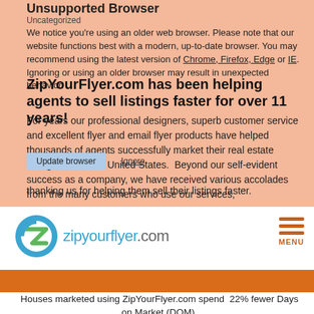Unsupported Browser
Uncategorized
We notice you're using an older web browser. Please note that our website functions best with a modern, up-to-date browser. You may recommend using the latest version of Chrome, Firefox, Edge or IE. Ignoring or using an older browser may result in unexpected behavior.
ZipYourFlyer.com has been helping agents to sell listings faster for over 11 years!
For years our professional designers, superb customer service and excellent flyer and email flyer products have helped thousands of agents successfully market their real estate listings across the United States.  Beyond our self-evident success as a company, we have received various accolades from the many customers who use our services, thanking us for helping them sell their listings faster.
[Figure (logo): ZipYourFlyer.com logo with green and blue circular icon]
[Figure (infographic): Hamburger menu icon with three orange lines and MENU label]
Houses marketed using ZipYourFlyer.com spend  22% fewer Days on Market (DOM).
We arrived at these numbers by comparing the average reported DOM for properties in several major metropolitan areas for 4 consecutive months. We then compared those